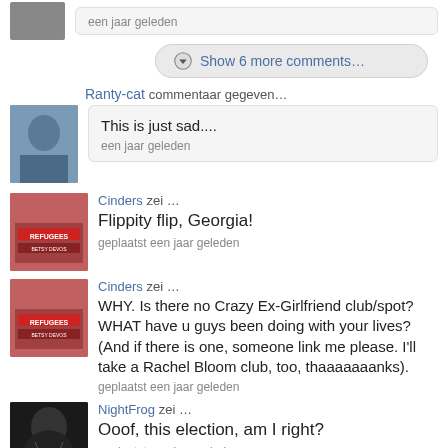een jaar geleden
Show 6 more comments…
Ranty-cat commentaar gegeven… This is just sad.... een jaar geleden
Cinders zei … Flippity flip, Georgia! geplaatst een jaar geleden
Cinders zei … WHY. Is there no Crazy Ex-Girlfriend club/spot? WHAT have u guys been doing with your lives? (And if there is one, someone link me please. I'll take a Rachel Bloom club, too, thaaaaaaanks). geplaatst een jaar geleden
NightFrog zei … Ooof, this election, am I right? geplaatst een jaar geleden